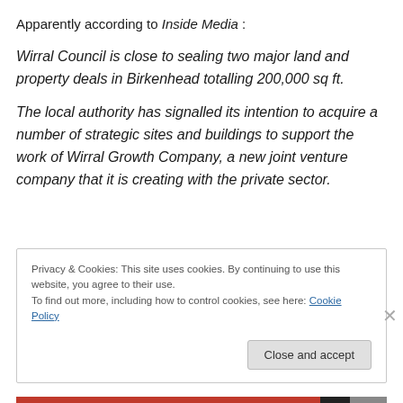Apparently according to Inside Media :
Wirral Council is close to sealing two major land and property deals in Birkenhead totalling 200,000 sq ft.
The local authority has signalled its intention to acquire a number of strategic sites and buildings to support the work of Wirral Growth Company, a new joint venture company that it is creating with the private sector.
Privacy & Cookies: This site uses cookies. By continuing to use this website, you agree to their use. To find out more, including how to control cookies, see here: Cookie Policy